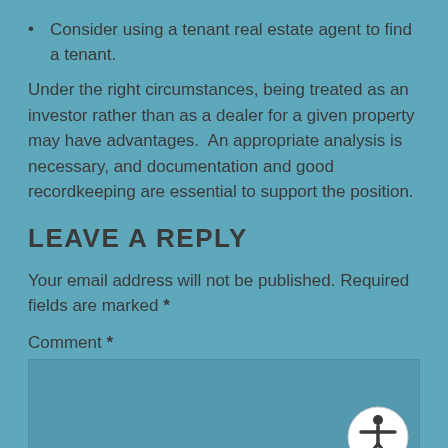Consider using a tenant real estate agent to find a tenant.
Under the right circumstances, being treated as an investor rather than as a dealer for a given property may have advantages.  An appropriate analysis is necessary, and documentation and good recordkeeping are essential to support the position.
LEAVE A REPLY
Your email address will not be published. Required fields are marked *
Comment *